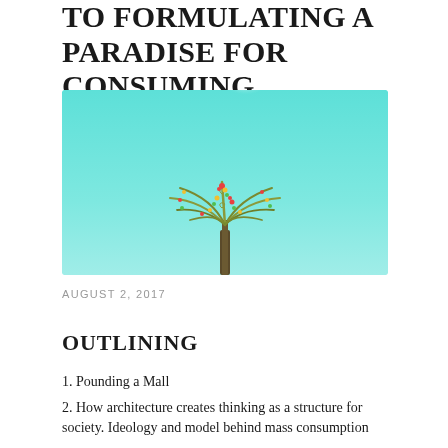TO FORMULATING A PARADISE FOR CONSUMING.
[Figure (photo): Photo of a palm tree top against a bright turquoise/teal sky, cropped to show only the crown of the palm with its fronds spreading outward]
AUGUST 2, 2017
OUTLINING
1. Pounding a Mall
2. How architecture creates thinking as a structure for society. Ideology and model behind mass consumption